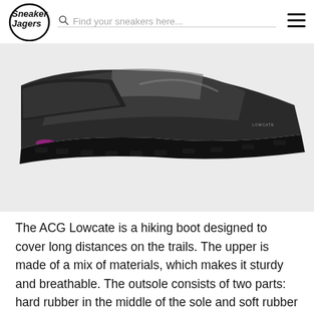Sneaker Jagers | Find your sneakers here...
[Figure (photo): Close-up bottom view of a Nike ACG Lowcate hiking boot showing black upper with grey accents, white midsole, and black outsole with purple/magenta visible in the tread pattern.]
The ACG Lowcate is a hiking boot designed to cover long distances on the trails. The upper is made of a mix of materials, which makes it sturdy and breathable. The outsole consists of two parts: hard rubber in the middle of the sole and soft rubber under the forefoot and arch.